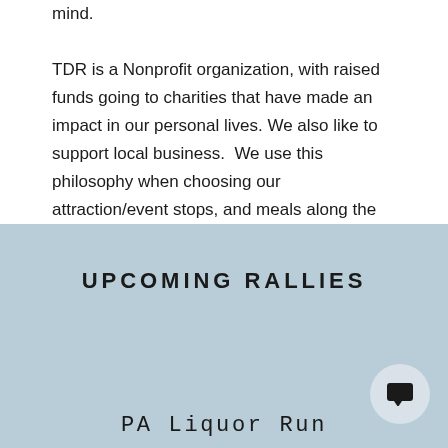mind. TDR is a Nonprofit organization, with raised funds going to charities that have made an impact in our personal lives. We also like to support local business.  We use this philosophy when choosing our attraction/event stops, and meals along the tour (Support Local).
UPCOMING RALLIES
PA Liquor Run